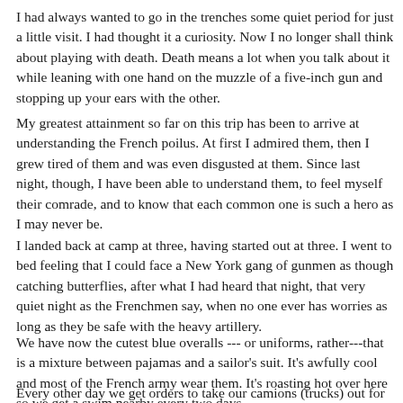I had always wanted to go in the trenches some quiet period for just a little visit. I had thought it a curiosity. Now I no longer shall think about playing with death. Death means a lot when you talk about it while leaning with one hand on the muzzle of a five-inch gun and stopping up your ears with the other.
My greatest attainment so far on this trip has been to arrive at understanding the French poilus. At first I admired them, then I grew tired of them and was even disgusted at them. Since last night, though, I have been able to understand them, to feel myself their comrade, and to know that each common one is such a hero as I may never be.
I landed back at camp at three, having started out at three. I went to bed feeling that I could face a New York gang of gunmen as though catching butterflies, after what I had heard that night, that very quiet night as the Frenchmen say, when no one ever has worries as long as they be safe with the heavy artillery.
We have now the cutest blue overalls --- or uniforms, rather---that is a mixture between pajamas and a sailor's suit. It's awfully cool and most of the French army wear them. It's roasting hot over here so we get a swim nearby every two days.
Every other day we get orders to take our camions (trucks) out for